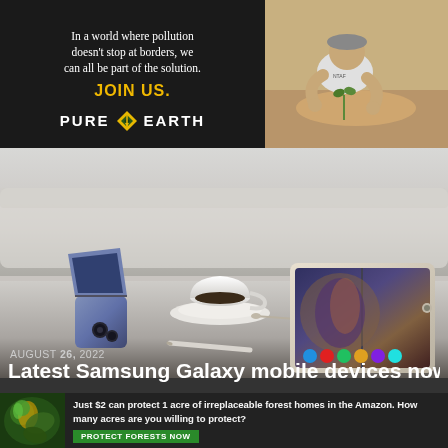[Figure (infographic): Pure Earth advertisement banner. Dark background with text: 'In a world where pollution doesn't stop at borders, we can all be part of the solution. JOIN US.' and Pure Earth logo with diamond icon. Right side shows photo of person planting/working in soil.]
[Figure (photo): Samsung Galaxy devices on a white table. Shows a Samsung Galaxy Z Flip folding phone standing open, a white coffee cup and saucer in the center, and a Samsung Galaxy Z Fold tablet/phone open flat showing colorful wallpaper with app icons.]
AUGUST 26, 2022
Latest Samsung Galaxy mobile devices now
[Figure (infographic): Amazon forest conservation advertisement. Dark green background with leaf/parrot image on left. Text: 'Just $2 can protect 1 acre of irreplaceable forest homes in the Amazon. How many acres are you willing to protect?' with green 'PROTECT FORESTS NOW' button.]